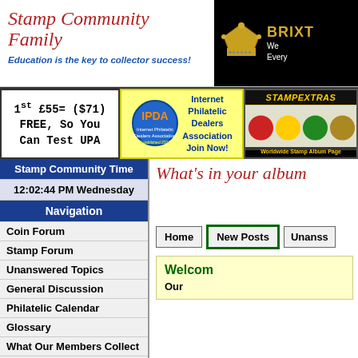[Figure (logo): Stamp Community Family logo with cursive red text and crown/Brixton banner on black background]
[Figure (infographic): Three banner ads: UPA 1st £55=($71) FREE, IPDA Internet Philatelic Dealers Association, StampExtras worldwide stamp album pages]
Stamp Community Time
12:02:44 PM Wednesday
Navigation
Coin Forum
Stamp Forum
Unanswered Topics
General Discussion
Philatelic Calendar
Glossary
What Our Members Collect
Contact Us
Advertise Here
SCF Reccomended
What's in your album
Home | New Posts | Unanswered Topics
Welcome
Our
All Forums  Category: US Stamps and Covers